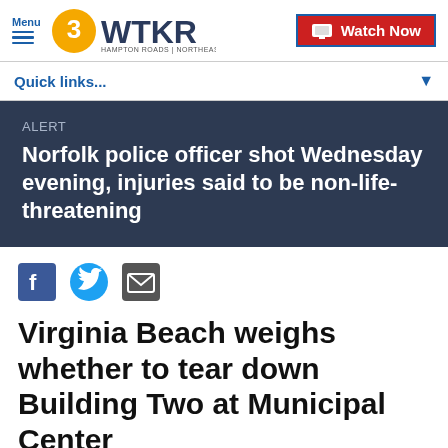3WTKR Hampton Roads | Northeast NC — Menu / Watch Now
Quick links...
ALERT
Norfolk police officer shot Wednesday evening, injuries said to be non-life-threatening
[Figure (infographic): Social sharing icons: Facebook, Twitter, Email]
Virginia Beach weighs whether to tear down Building Two at Municipal Center